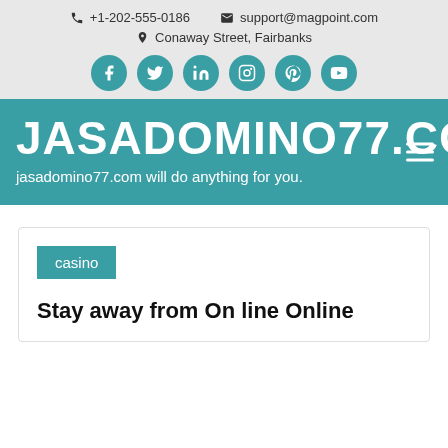+1-202-555-0186  support@magpoint.com  Conaway Street, Fairbanks
[Figure (other): Social media icons: Facebook, Twitter, LinkedIn, Instagram, Pinterest, YouTube in teal circles]
JASADOMINO77.COM
jasadomino77.com will do anything for you.
casino
Stay away from On line Online